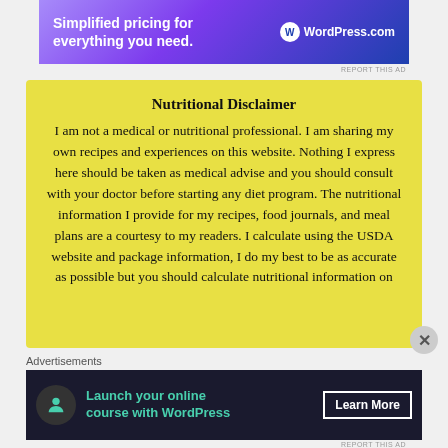[Figure (screenshot): Top WordPress.com advertisement banner with gradient purple-blue background showing 'Simplified pricing for everything you need.' and WordPress.com logo]
Nutritional Disclaimer
I am not a medical or nutritional professional. I am sharing my own recipes and experiences on this website. Nothing I express here should be taken as medical advise and you should consult with your doctor before starting any diet program. The nutritional information I provide for my recipes, food journals, and meal plans are a courtesy to my readers. I calculate using the USDA website and package information, I do my best to be as accurate as possible but you should calculate nutritional information on
Advertisements
[Figure (screenshot): Bottom dark advertisement banner: 'Launch your online course with WordPress' with Learn More button]